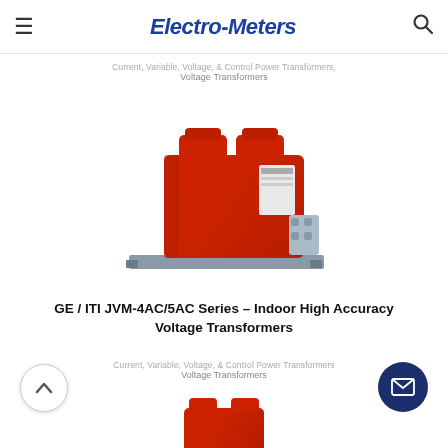Electro-Meters
Current, Variable, Voltage, & Control Power Transformers, Voltage Transformers
[Figure (photo): Red indoor high accuracy voltage transformer (GE / ITI JVM-4AC/5AC Series) mounted on a metal base plate, shown from a front-angle view. The unit is a boxy red molded case with mounting feet.]
GE / ITI JVM-4AC/5AC Series – Indoor High Accuracy Voltage Transformers
Current, Variable, Voltage, & Control Power Transformers
Voltage Transformers
[Figure (photo): Partial view of another red voltage transformer at the bottom of the page (cropped).]